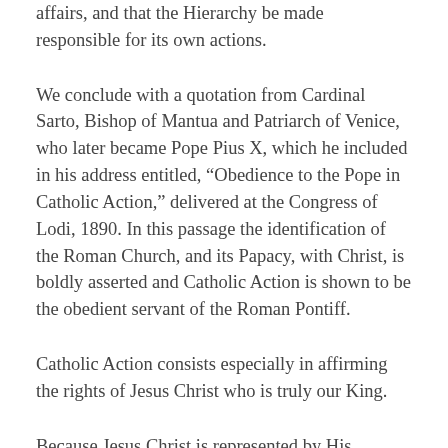affairs, and that the Hierarchy be made responsible for its own actions.
We conclude with a quotation from Cardinal Sarto, Bishop of Mantua and Patriarch of Venice, who later became Pope Pius X, which he included in his address entitled, “Obedience to the Pope in Catholic Action,” delivered at the Congress of Lodi, 1890. In this passage the identification of the Roman Church, and its Papacy, with Christ, is boldly asserted and Catholic Action is shown to be the obedient servant of the Roman Pontiff.
Catholic Action consists especially in affirming the rights of Jesus Christ who is truly our King.
Because Jesus Christ is represented by His Church, Catholic Action consists in being affectionate children of this perfect society, which does not depend on other powers for the right to direct souls, or to minister to...